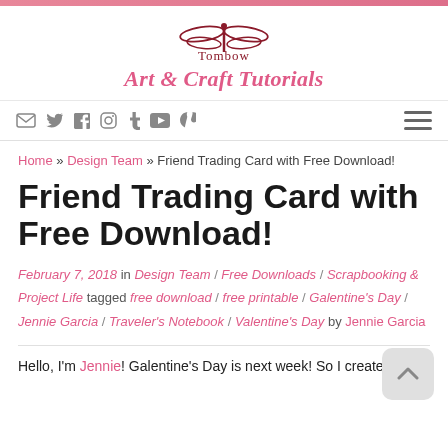[Figure (logo): Tombow dragonfly logo with brand name 'Tombow' below]
Art & Craft Tutorials
[Figure (other): Social media icons: email, Twitter, Facebook, Instagram, Tumblr, YouTube, Pinterest, and hamburger menu]
Home » Design Team » Friend Trading Card with Free Download!
Friend Trading Card with Free Download!
February 7, 2018 in Design Team / Free Downloads / Scrapbooking & Project Life tagged free download / free printable / Galentine's Day / Jennie Garcia / Traveler's Notebook / Valentine's Day by Jennie Garcia
Hello, I'm Jennie! Galentine's Day is next week! So I created a